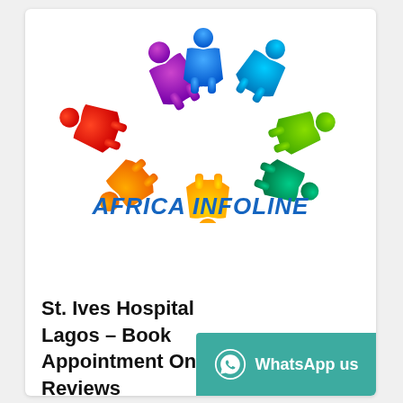[Figure (logo): Africa Infoline logo: colorful circle of stylized people figures in purple, blue, green, teal, yellow/orange, red/orange, red, forming a ring around a white star shape, with 'AFRICA INFOLINE' text in bold italic blue below]
St. Ives Hospital Lagos – Book Appointment Online, Reviews
WhatsApp us